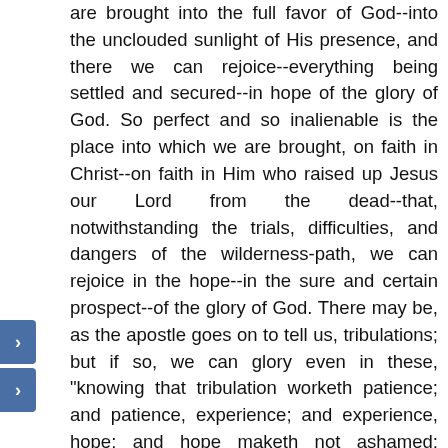are brought into the full favor of God--into the unclouded sunlight of His presence, and there we can rejoice--everything being settled and secured--in hope of the glory of God. So perfect and so inalienable is the place into which we are brought, on faith in Christ--on faith in Him who raised up Jesus our Lord from the dead--that, notwithstanding the trials, difficulties, and dangers of the wilderness-path, we can rejoice in the hope--in the sure and certain prospect--of the glory of God. There may be, as the apostle goes on to tell us, tribulations; but if so, we can glory even in these, "knowing that tribulation worketh patience; and patience, experience; and experience, hope; and hope maketh not ashamed; because the love of God is shed abroad in our hearts by the Holy Ghost which is given unto us"--that love which God proved, commended toward us, in that, while we were yet sinners, Christ died for us. Having too, while we were yet enemies, been reconciled to God by the death of His Son, much more, we are entitled to conclude, we shall be saved--saved completely, including the redemption of the body (8: 23)--by His life, the life of the risen Saviour at the right hand of God. And not only so,